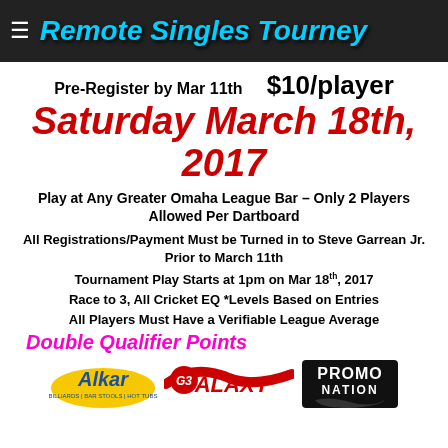Remote Singles Tourney
Pre-Register by Mar 11th   $10/player
Saturday March 18th, 2017
Play at Any Greater Omaha League Bar – Only 2 Players Allowed Per Dartboard
All Registrations/Payment Must be Turned in to Steve Garrean Jr. Prior to March 11th
Tournament Play Starts at 1pm on Mar 18th, 2017
Race to 3, All Cricket EQ *Levels Based on Entries
All Players Must Have a Verifiable League Average
Double Qualifier Points
[Figure (logo): Alkar Billiards Bar Stools Hot Tubs logo, Galaxy G3 logo, Promo Nation logo]